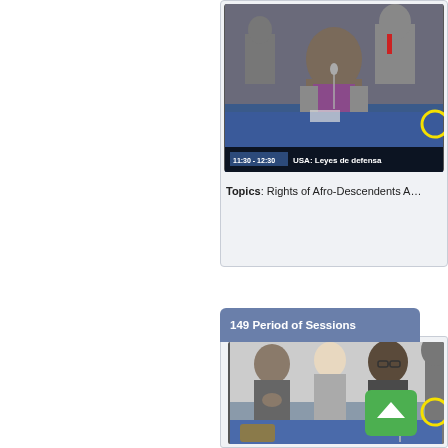[Figure (screenshot): Video screenshot of a woman speaking at a conference table with a microphone, overlaid with time badge '11:30 - 12:30' and title 'USA: Leyes de defensa'. A yellow circle is visible on the right edge.]
Topics: Rights of Afro-Descendents A…
149 Period of Sessions
[Figure (screenshot): Video screenshot showing people seated at a conference, including a man with hands clasped and a woman with glasses. A green button with an upward arrow is overlaid. A yellow circle is on the right edge.]